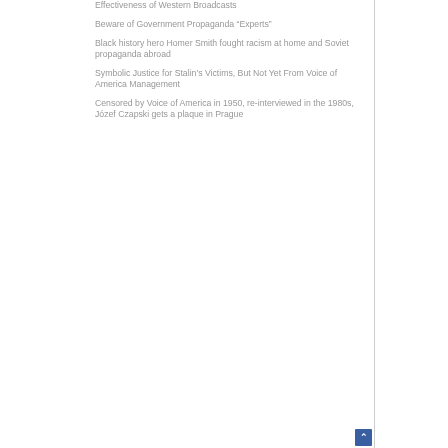Effectiveness of Western Broadcasts
Beware of Government Propaganda “Experts”
Black history hero Homer Smith fought racism at home and Soviet propaganda abroad
Symbolic Justice for Stalin’s Victims, But Not Yet From Voice of America Management
Censored by Voice of America in 1950, re-interviewed in the 1980s, Józef Czapski gets a plaque in Prague